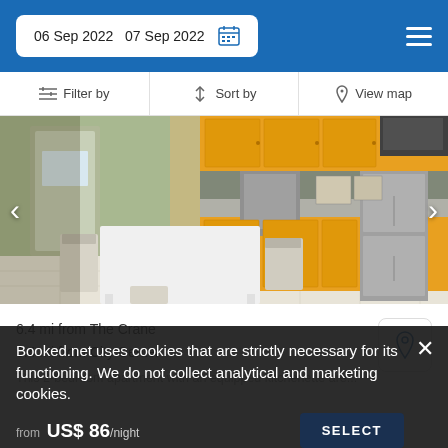06 Sep 2022   07 Sep 2022
Filter by | Sort by | View map
[Figure (photo): Kitchen/dining area with yellow cabinets, white dining table and chairs, tile floor, stainless steel refrigerator, and stove in background]
6.4 mi from The Crane
6.4 mi from City Center
This 2-bedroom apartment with an equipped kitchenette are...
Booked.net uses cookies that are strictly necessary for its functioning. We do not collect analytical and marketing cookies.
from  US$ 86/night   SELECT